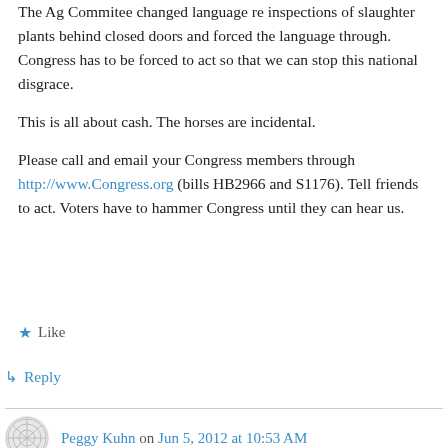The Ag Commitee changed language re inspections of slaughter plants behind closed doors and forced the language through. Congress has to be forced to act so that we can stop this national disgrace.

This is all about cash. The horses are incidental.

Please call and email your Congress members through http://www.Congress.org (bills HB2966 and S1176). Tell friends to act. Voters have to hammer Congress until they can hear us.
Like
Reply
Peggy Kuhn on Jun 5, 2012 at 10:53 AM